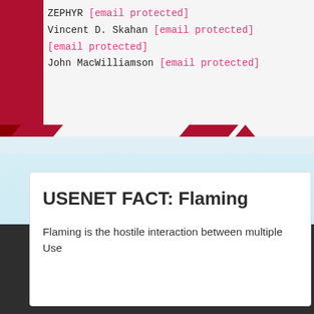ZEPHYR [email protected]
Vincent D. Skahan [email protected]
[email protected]
John MacWilliamson [email protected]
USENET FACT: Flaming
Flaming is the hostile interaction between multiple Use
NEWSDEMON
Blog
DMCA